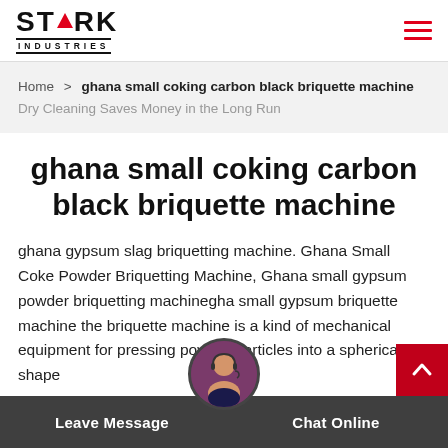[Figure (logo): Stark Industries logo with red triangle and bold text]
Home > ghana small coking carbon black briquette machine Dry Cleaning Saves Money in the Long Run
ghana small coking carbon black briquette machine
ghana gypsum slag briquetting machine. Ghana Small Coke Powder Briquetting Machine, Ghana small gypsum powder briquetting machinegha small gypsum briquette machine the briquette machine is a kind of mechanical equipment for pressing powder particles into a spherical shape
Leave Message  Chat Online